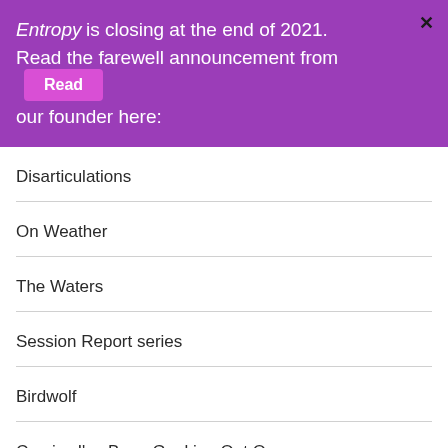Entropy is closing at the end of 2021. Read the farewell announcement from our founder here:
Disarticulations
On Weather
The Waters
Session Report series
Birdwolf
Comics I've Been Geeking Out On
Small Press Rel…